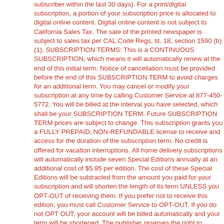subscriber within the last 30 days). For a print/digital subscription, a portion of your subscription price is allocated to digital online content. Digital online content is not subject to California Sales Tax. The sale of the printed newspaper is subject to sales tax per CAL.Code Regs, tit. 18, section 1590 (b)(1). SUBSCRIPTION TERMS: This is a CONTINUOUS SUBSCRIPTION, which means it will automatically renew at the end of this initial term. Notice of cancellation must be provided before the end of this SUBSCRIPTION TERM to avoid charges for an additional term. You may cancel or modify your subscription at any time by calling Customer Service at 877-450-5772. You will be billed at the interval you have selected, which shall be your SUBSCRIPTION TERM. Future SUBSCRIPTION TERM prices are subject to change. This subscription grants you a FULLY PREPAID, NON-REFUNDABLE license to receive and access for the duration of the subscription term. No credit is offered for vacation interruptions. All home delivery subscriptions will automatically include seven Special Editions annually at an additional cost of $5.95 per edition. The cost of these Special Editions will be subtracted from the amount you paid for your subscription and will shorten the length of its term UNLESS you OPT-OUT of receiving them. If you prefer not to receive this edition, you must call Customer Service to OPT-OUT. If you do not OPT OUT, your account will be billed automatically and your term will be shortened. The publisher reserves the right to change subscription rates during the term of any subscription. Subscription orders or payments paid by paper check will be processed as an electronic bank draft. No credit is offered for vacation service interruptions. Future prices are subject to change. By accepting terms and conditions of this subscription, you are giving Southern California News Group and its